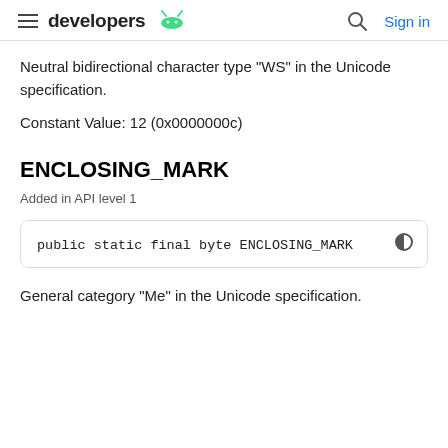developers | Sign in
Neutral bidirectional character type "WS" in the Unicode specification.
Constant Value: 12 (0x0000000c)
ENCLOSING_MARK
Added in API level 1
public static final byte ENCLOSING_MARK
General category "Me" in the Unicode specification.